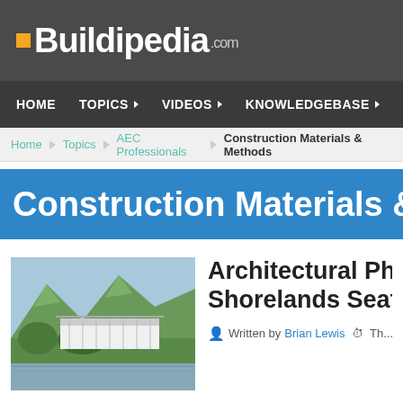Buildipedia.com
HOME  TOPICS  VIDEOS  KNOWLEDGEBASE
Home > Topics > AEC Professionals > Construction Materials & Methods
Construction Materials & Methods
[Figure (photo): Photograph of a modern building with mountains and tropical vegetation in the background]
Architectural Pho... Shorelands Seafr...
Written by Brian Lewis  Th...